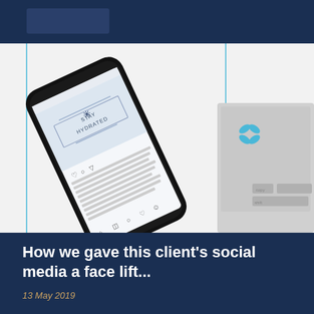[Figure (photo): A smartphone showing an Instagram post with 'STAY HYDRATED' text on a light blue background, lying on a white surface next to a laptop keyboard, with a blue decorative logo overlay visible on the right side]
How we gave this client's social media a face lift...
13 May 2019